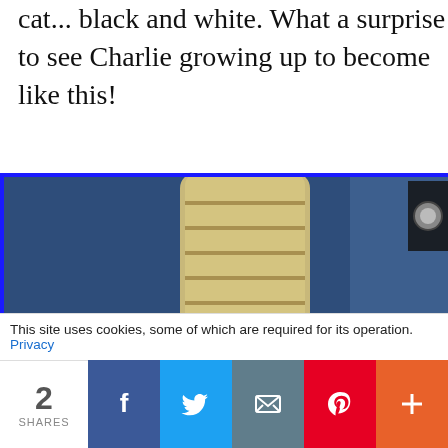cat... black and white. What a surprise to see Charlie growing up to become like this!
[Figure (photo): A fluffy tabby/long-haired cat looking up at the camera, lying near a blue surface with a rope scratching post in the background.]
This site uses cookies, some of which are required for its operation. Privacy
2 SHARES
[Figure (infographic): Social share bar with Facebook, Twitter, Email, Pinterest, and More buttons]